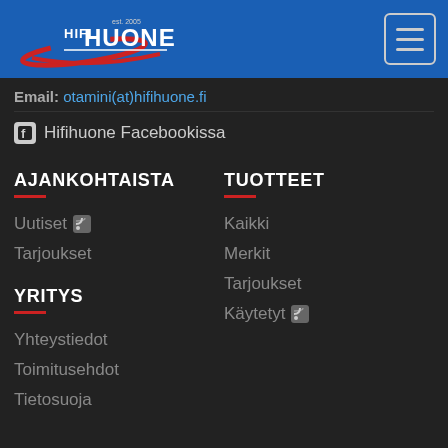[Figure (logo): HifiHuone logo with red swoosh on blue header bar]
Email: otamini(at)hifihuone.fi
Hifihuone Facebookissa
AJANKOHTAISTA
Uutiset
Tarjoukset
YRITYS
Yhteystiedot
Toimitusehdot
Tietosuoja
TUOTTEET
Kaikki
Merkit
Tarjoukset
Käytetyt